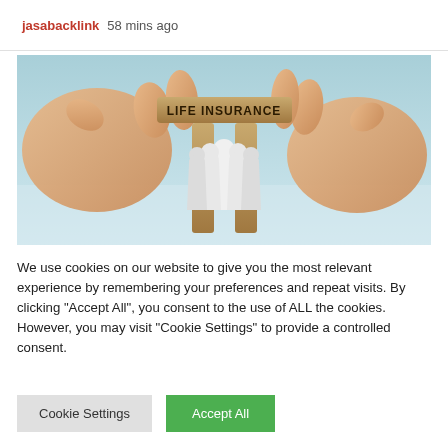jasabacklink  58 mins ago
[Figure (photo): Hands holding a wooden block labeled 'LIFE INSURANCE' above paper cutout figures of people between two wooden posts, on a light blue background.]
We use cookies on our website to give you the most relevant experience by remembering your preferences and repeat visits. By clicking "Accept All", you consent to the use of ALL the cookies. However, you may visit "Cookie Settings" to provide a controlled consent.
Cookie Settings  Accept All